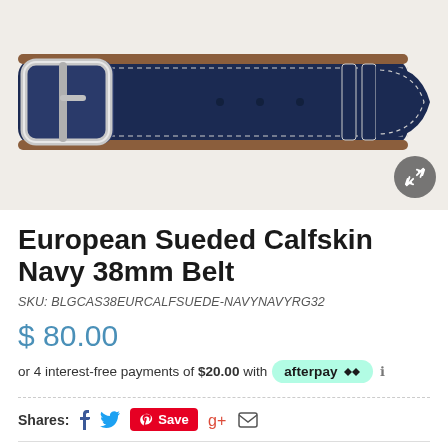[Figure (photo): Navy blue suede belt with silver rectangular buckle and white stitching detail, on a light cream background.]
European Sueded Calfskin Navy 38mm Belt
SKU: BLGCAS38EURCALFSUEDE-NAVYNAVYRG32
$ 80.00
or 4 interest-free payments of $20.00 with afterpay ℹ
Shares: (social share icons: Facebook, Twitter, Pinterest Save, Google+, Email)